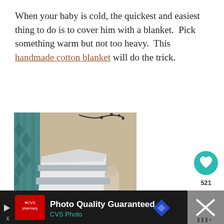When your baby is cold, the quickest and easiest thing to do is to cover him with a blanket.  Pick something warm but not too heavy.  This handmade cotton blanket will do the trick.
[Figure (photo): A gray and white striped handmade cotton blanket draped over a light beige armchair, in a room with teal patterned curtains and a branch wall decal.]
[Figure (infographic): Social interaction buttons: a teal heart/like button, a count of 521, and a share button.]
[Figure (infographic): What's Next panel showing a thumbnail of a person and text: 'Loud Kids: How to Get...']
[Figure (infographic): Advertisement bar for CVS Photo with text 'Photo Quality Guaranteed' and 'CVS Photo'.]